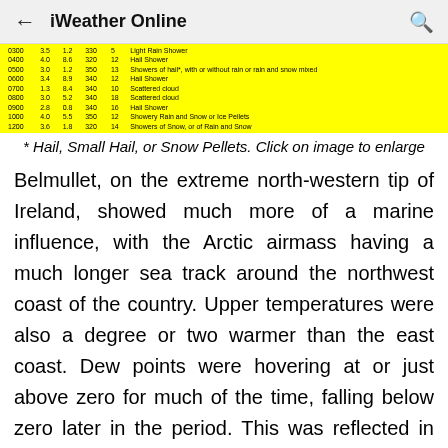iWeather Online
| 0300 | 3.5 | 1.2 | 330 | 5 | Light Rain Shower |
| 0400 | 4.0 | 8.6 | 320 | 12 | Hail Shower |
| 0500 | 3.0 | 1.2 | 350 | 13 | Showers of hail*, with or without rain or rain and snow mixed |
| 0600 | 3.4 | 8.9 | 340 | 12 | Hail Shower |
| 0700 | 1.3 | 8.4 | 340 | 10 | Scattered cloud |
| 0800 | 3.0 | 5.2 | 340 | 18 | Scattered cloud |
| 0900 | 2.8 | 0.8 | 340 | 16 | Hail Shower |
| 1000 | 4.0 | 5.5 | 350 | 12 | Showery Rain and Snow or Ice Pellets |
| 1200 | 3.6 | 1.8 | 320 | 14 | Showers of Snow, or of Rain and Snow |
* Hail, Small Hail, or Snow Pellets. Click on image to enlarge
Belmullet, on the extreme north-western tip of Ireland, showed much more of a marine influence, with the Arctic airmass having a much longer sea track around the northwest coast of the country. Upper temperatures were also a degree or two warmer than the east coast. Dew points were hovering at or just above zero for much of the time, falling below zero later in the period. This was reflected in the presence of a rain mix in the